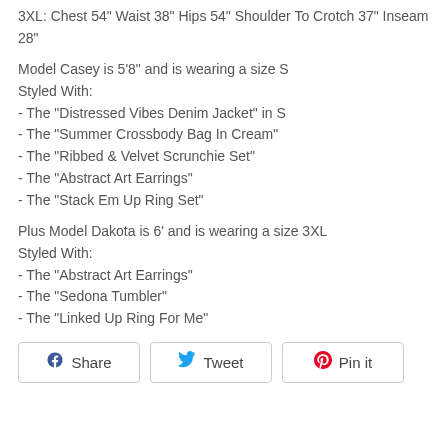3XL: Chest 54" Waist 38" Hips 54" Shoulder To Crotch 37" Inseam 28"
Model Casey is 5'8" and is wearing a size S
Styled With:
- The "Distressed Vibes Denim Jacket" in S
- The "Summer Crossbody Bag In Cream"
- The "Ribbed & Velvet Scrunchie Set"
- The "Abstract Art Earrings"
- The "Stack Em Up Ring Set"
Plus Model Dakota is 6' and is wearing a size 3XL
Styled With:
- The "Abstract Art Earrings"
- The "Sedona Tumbler"
- The "Linked Up Ring For Me"
Share  Tweet  Pin it